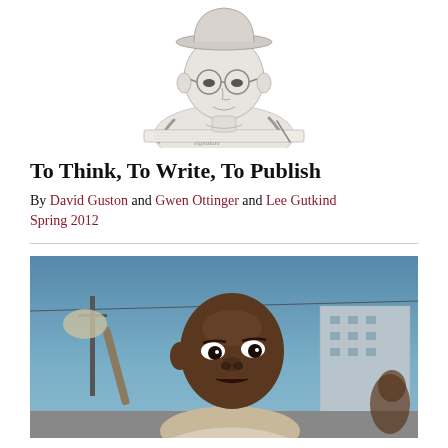[Figure (illustration): Pencil sketch/caricature of a person (wearing glasses, hat) writing or reading, viewed from above/side angle]
To Think, To Write, To Publish
By David Guston and Gwen Ottinger and Lee Gutkind
Spring 2012
[Figure (photo): Photograph of a young Black man outdoors, looking up at the camera from below, holding something, with a blue sky and buildings in the background]